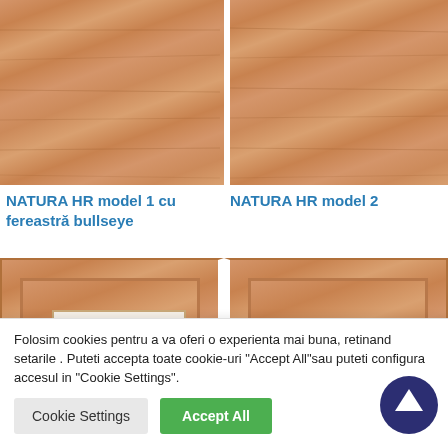[Figure (photo): NATURA HR model 1 cu fereastră bullseye - wooden door panel, flat wood grain surface, light brown/beech color]
[Figure (photo): NATURA HR model 2 - wooden door panel, flat wood grain surface, light brown/beech color]
NATURA HR model 1 cu fereastră bullseye
NATURA HR model 2
[Figure (photo): NATURA HR model with glass window insert - wooden door panel with raised frame and rectangular frosted glass panel]
[Figure (photo): NATURA HR model solid panel - wooden door with raised frame border, solid beech wood]
Folosim cookies pentru a va oferi o experienta mai buna, retinand setarile . Puteti accepta toate cookie-uri "Accept All"sau puteti configura accesul in "Cookie Settings".
Cookie Settings
Accept All